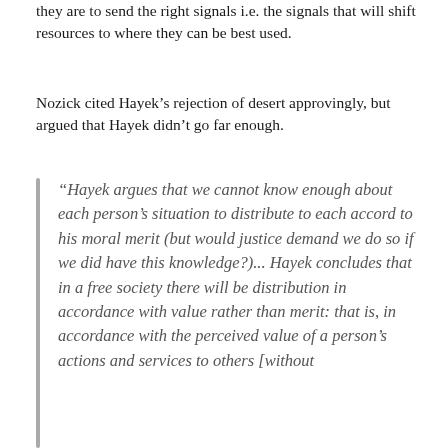they are to send the right signals i.e. the signals that will shift resources to where they can be best used.
Nozick cited Hayek's rejection of desert approvingly, but argued that Hayek didn't go far enough.
“Hayek argues that we cannot know enough about each person’s situation to distribute to each accord to his moral merit (but would justice demand we do so if we did have this knowledge?)... Hayek concludes that in a free society there will be distribution in accordance with value rather than merit: that is, in accordance with the perceived value of a person’s actions and services to others [without